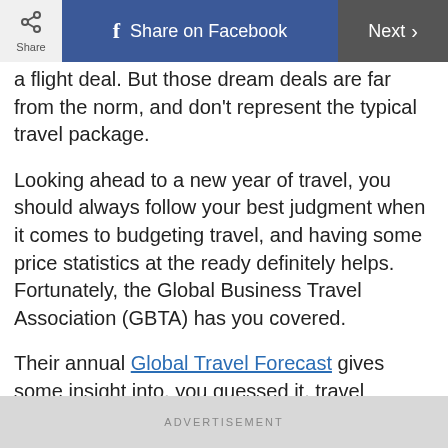Share | Share on Facebook | Next >
a flight deal. But those dream deals are far from the norm, and don't represent the typical travel package.
Looking ahead to a new year of travel, you should always follow your best judgment when it comes to budgeting travel, and having some price statistics at the ready definitely helps. Fortunately, the Global Business Travel Association (GBTA) has you covered.
Their annual Global Travel Forecast gives some insight into, you guessed it, travel
ADVERTISEMENT